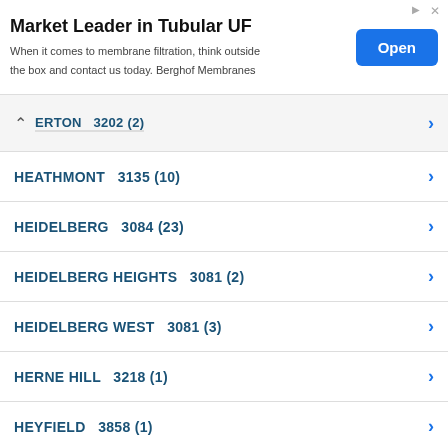[Figure (screenshot): Advertisement banner: 'Market Leader in Tubular UF' with Open button]
ERTON  3202 (2)
HEATHMONT  3135 (10)
HEIDELBERG  3084 (23)
HEIDELBERG HEIGHTS  3081 (2)
HEIDELBERG WEST  3081 (3)
HERNE HILL  3218 (1)
HEYFIELD  3858 (1)